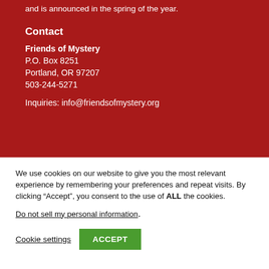and is announced in the spring of the year.
Contact
Friends of Mystery
P.O. Box 8251
Portland, OR 97207
503-244-5271

Inquiries: info@friendsofmystery.org
We use cookies on our website to give you the most relevant experience by remembering your preferences and repeat visits. By clicking “Accept”, you consent to the use of ALL the cookies.
Do not sell my personal information.
Cookie settings   ACCEPT